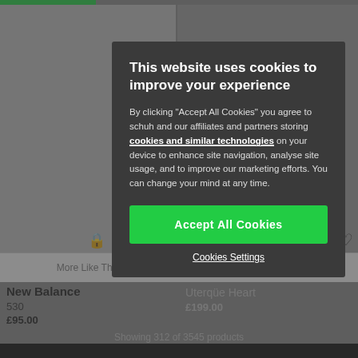[Figure (screenshot): Background of an e-commerce shoe website showing product images, More Like This buttons, product names and prices, a Show More button, and a View All Products link, all dimmed behind a cookie consent modal overlay.]
This website uses cookies to improve your experience
By clicking "Accept All Cookies" you agree to schuh and our affiliates and partners storing cookies and similar technologies on your device to enhance site navigation, analyse site usage, and to improve our marketing efforts. You can change your mind at any time.
Accept All Cookies
Cookies Settings